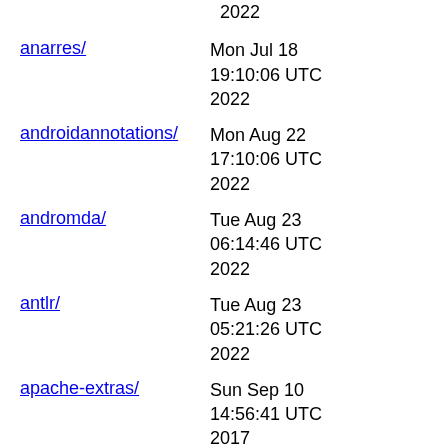2022
anarres/ — Mon Jul 18 19:10:06 UTC 2022
androidannotations/ — Mon Aug 22 17:10:06 UTC 2022
andromda/ — Tue Aug 23 06:14:46 UTC 2022
antlr/ — Tue Aug 23 05:21:26 UTC 2022
apache-extras/ — Sun Sep 10 14:56:41 UTC 2017
apiguardian/ — Tue Aug 23 00:25:53 UTC 2022
appdenter/ — Mon Aug 22 14:10:07 UTC